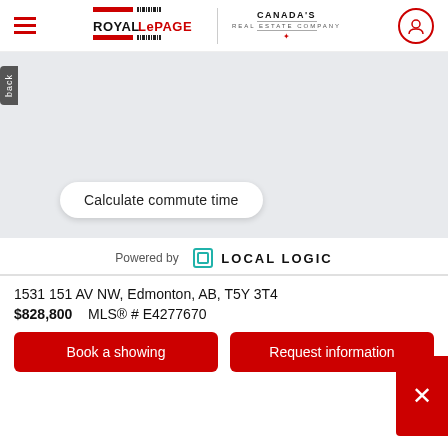[Figure (logo): Royal LePage and Canada's Real Estate Company logos in header navigation bar]
[Figure (screenshot): Light grey map area placeholder showing a map region for Edmonton, AB area]
back
Calculate commute time
Powered by LOCAL LOGIC
1531 151 AV NW, Edmonton, AB, T5Y 3T4
$828,800    MLS® # E4277670
Book a showing
Request information